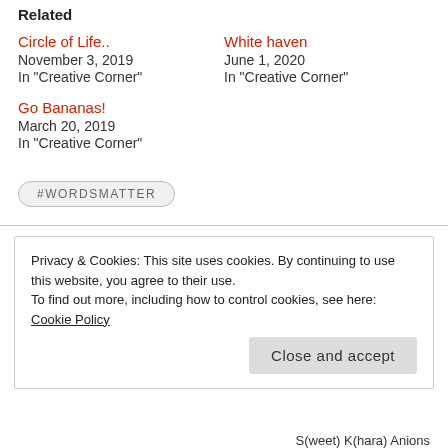Related
Circle of Life..
November 3, 2019
In "Creative Corner"
White haven
June 1, 2020
In "Creative Corner"
Go Bananas!
March 20, 2019
In "Creative Corner"
#WORDSMATTER
Privacy & Cookies: This site uses cookies. By continuing to use this website, you agree to their use.
To find out more, including how to control cookies, see here: Cookie Policy
Close and accept
S(weet) K(hara) Anions